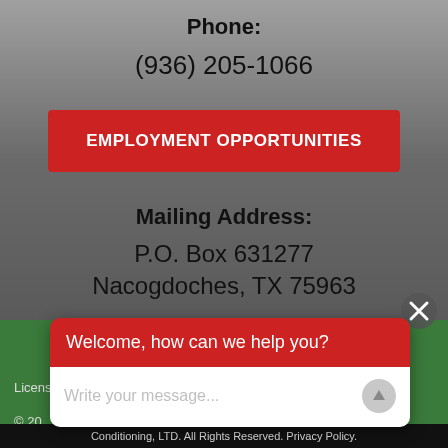Phone:
(936) 205-1066
EMPLOYMENT OPPORTUNITIES
Mailing Address:
P.O. Box 631277
Nacogdoches, TX 75963
Welcome, how can we help you?
Write your message...
Licens
© 20
Conditioning, LTD. All Rights Reserved. Privacy Policy.